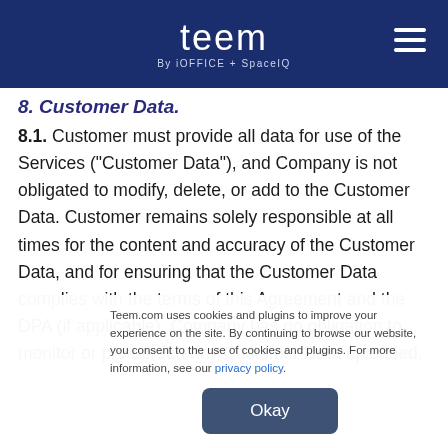teem By iOFFICE + SpaceIQ
8. Customer Data.
8.1. Customer must provide all data for use of the Services ("Customer Data"), and Company is not obligated to modify, delete, or add to the Customer Data. Customer remains solely responsible at all times for the content and accuracy of the Customer Data, and for ensuring that the Customer Data complies with the terms of this Agreement and the DPA (if applicable). Company has no obligation to monitor or pre-screen any Customer Data uploaded.
Teem.com uses cookies and plugins to improve your experience on the site. By continuing to browse our website, you consent to the use of cookies and plugins. For more information, see our privacy policy.